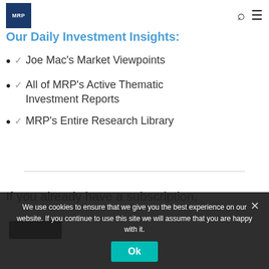MRP logo, search icon, menu icon
Our Daily Investment Insights:
Joe Mac's Market Viewpoints
All of MRP's Active Thematic Investment Reports
MRP's Entire Research Library
If you already have a subscription,
We use cookies to ensure that we give you the best experience on our website. If you continue to use this site we will assume that you are happy with it.